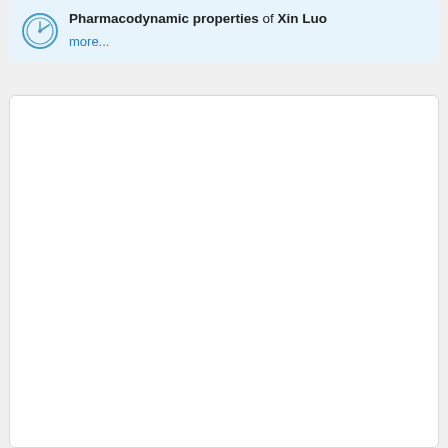Pharmacodynamic properties of Xin Luo
more...
[Figure (other): Empty white card/panel below the pharmacodynamic properties section]